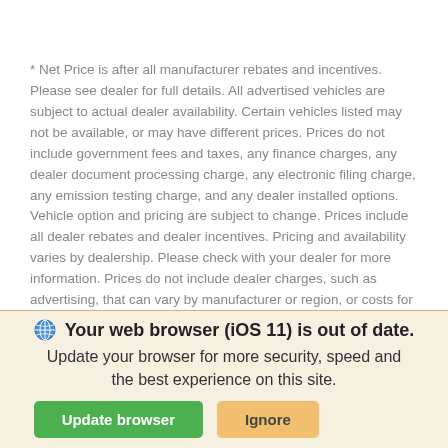* Net Price is after all manufacturer rebates and incentives. Please see dealer for full details. All advertised vehicles are subject to actual dealer availability. Certain vehicles listed may not be available, or may have different prices. Prices do not include government fees and taxes, any finance charges, any dealer document processing charge, any electronic filing charge, any emission testing charge, and any dealer installed options. Vehicle option and pricing are subject to change. Prices include all dealer rebates and dealer incentives. Pricing and availability varies by dealership. Please check with your dealer for more information. Prices do not include dealer charges, such as advertising, that can vary by manufacturer or region, or costs for selling, preparing, displaying or financing the vehicle. Images displayed may not be
Your web browser (iOS 11) is out of date. Update your browser for more security, speed and the best experience on this site.